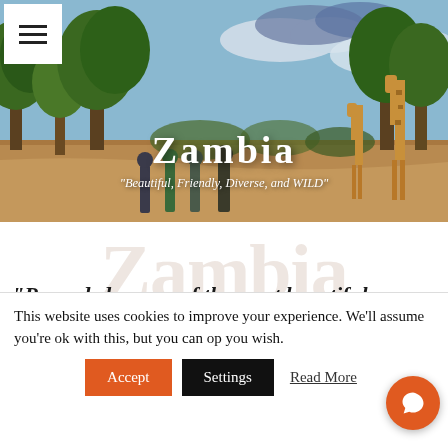[Figure (photo): Safari landscape with giraffes, trees, and people walking in Zambia]
Zambia
"Beautiful, Friendly, Diverse, and WILD"
"Regarded as one of the most beautiful, friendly, diverse and 'wild' countries on the entire
This website uses cookies to improve your experience. We'll assume you're ok with this, but you can op you wish.